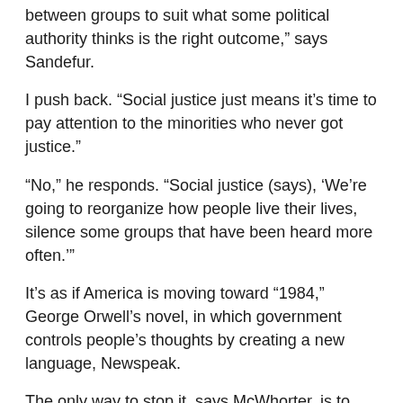between groups to suit what some political authority thinks is the right outcome,” says Sandefur.
I push back. “Social justice just means it’s time to pay attention to the minorities who never got justice.”
“No,” he responds. “Social justice (says), ‘We’re going to reorganize how people live their lives, silence some groups that have been heard more often.’”
It’s as if America is moving toward “1984,” George Orwell’s novel, in which government controls people’s thoughts by creating a new language, Newspeak.
The only way to stop it, says McWhorter, is to push back.
“Enlightened America needs to develop a backbone and start getting used to being called racist on Twitter. Just withstand it. Keep their voices out there. Make us understand what true justice is.”